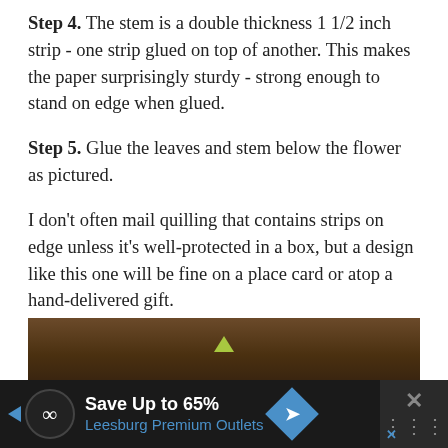Step 4. The stem is a double thickness 1 1/2 inch strip - one strip glued on top of another. This makes the paper surprisingly sturdy - strong enough to stand on edge when glued.
Step 5. Glue the leaves and stem below the flower as pictured.
I don't often mail quilling that contains strips on edge unless it's well-protected in a box, but a design like this one will be fine on a place card or atop a hand-delivered gift.
[Figure (photo): Dark brown wooden background photo with a small green triangular highlight visible at the bottom center]
[Figure (other): Advertisement banner: Save Up to 65% Leesburg Premium Outlets with logo circle, diamond arrow icon, and close button]